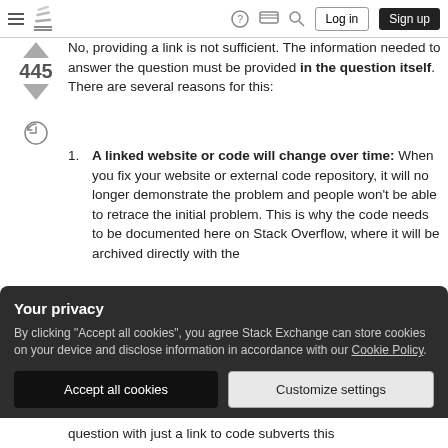Stack Overflow navigation bar with hamburger menu, logo, icons, Log in and Sign up buttons
No, providing a link is not sufficient. The information needed to answer the question must be provided in the question itself. There are several reasons for this:
A linked website or code will change over time: When you fix your website or external code repository, it will no longer demonstrate the problem and people won't be able to retrace the initial problem. This is why the code needs to be documented here on Stack Overflow, where it will be archived directly with the
Your privacy
By clicking "Accept all cookies", you agree Stack Exchange can store cookies on your device and disclose information in accordance with our Cookie Policy.
Accept all cookies
Customize settings
question with just a link to code subverts this